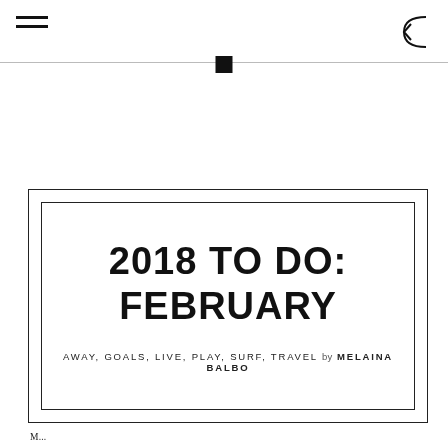2018 TO DO: FEBRUARY
AWAY, GOALS, LIVE, PLAY, SURF, TRAVEL by MELAINA BALBO